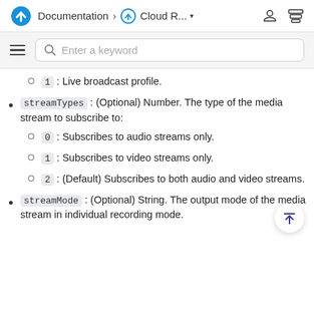Documentation > Cloud R... ▾
1 : Live broadcast profile.
streamTypes : (Optional) Number. The type of the media stream to subscribe to:
0 : Subscribes to audio streams only.
1 : Subscribes to video streams only.
2 : (Default) Subscribes to both audio and video streams.
streamMode : (Optional) String. The output mode of the media stream in individual recording mode.